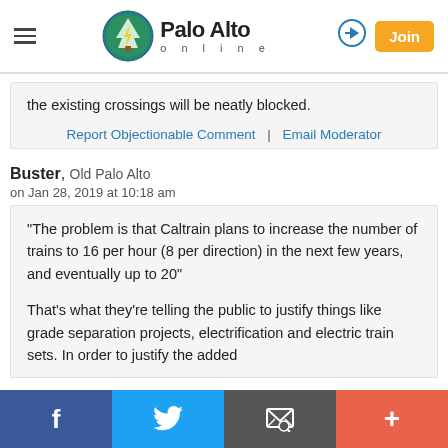Palo Alto online
the existing crossings will be neatly blocked.
Report Objectionable Comment | Email Moderator
Buster, Old Palo Alto
on Jan 28, 2019 at 10:18 am
"The problem is that Caltrain plans to increase the number of trains to 16 per hour (8 per direction) in the next few years, and eventually up to 20"
That's what they're telling the public to justify things like grade separation projects, electrification and electric train sets. In order to justify the added
f  Twitter  Email  +